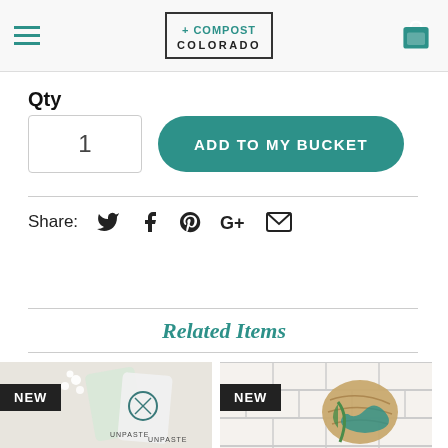+ COMPOST COLORADO
Qty
1  ADD TO MY BUCKET
Share:
Related Items
[Figure (photo): Product image with NEW badge - Unpaste toothpaste tabs packets]
[Figure (photo): Product image with NEW badge - natural loofah/jute scrubber on tile background]